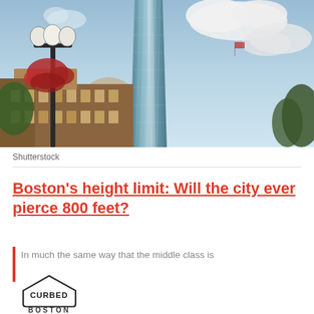[Figure (photo): Photograph of a tall glass skyscraper in Boston, with a street lamp with red flowers in the foreground, historic brick buildings to the left, and a partly cloudy sky background.]
Shutterstock
Boston’s height limit: Will the city ever pierce 800 feet?
In much the same way that the middle class is
[Figure (logo): Curbed Boston logo — a house-shaped outlined badge with the word CURBED inside and BOSTON below.]